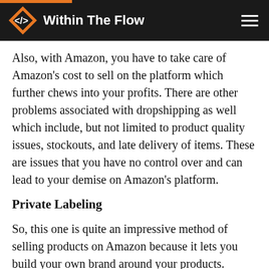Within The Flow
Also, with Amazon, you have to take care of Amazon's cost to sell on the platform which further chews into your profits. There are other problems associated with dropshipping as well which include, but not limited to product quality issues, stockouts, and late delivery of items. These are issues that you have no control over and can lead to your demise on Amazon's platform.
Private Labeling
So, this one is quite an impressive method of selling products on Amazon because it lets you build your own brand around your products. Private label sellers on Amazon source their